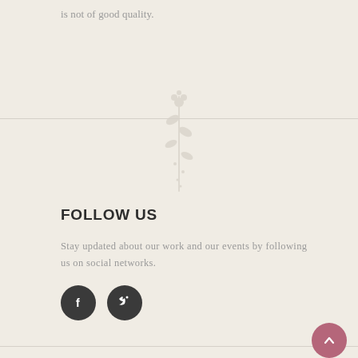is not of good quality.
[Figure (illustration): Faint floral/botanical ornament centered on the page divider line]
FOLLOW US
Stay updated about our work and our events by following us on social networks.
[Figure (infographic): Two dark circular social media icon buttons: Facebook (f) and Twitter (bird icon)]
[Figure (other): Dusty rose circular scroll-to-top button with upward chevron arrow, bottom right corner]